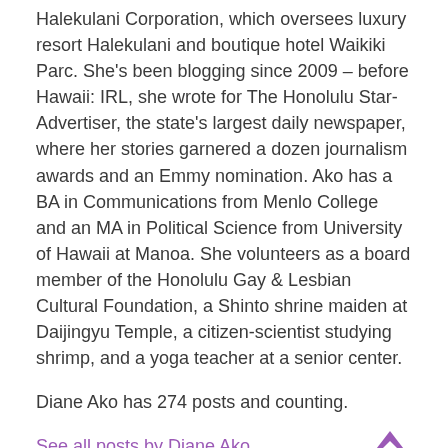Halekulani Corporation, which oversees luxury resort Halekulani and boutique hotel Waikiki Parc. She's been blogging since 2009 – before Hawaii: IRL, she wrote for The Honolulu Star-Advertiser, the state's largest daily newspaper, where her stories garnered a dozen journalism awards and an Emmy nomination. Ako has a BA in Communications from Menlo College and an MA in Political Science from University of Hawaii at Manoa. She volunteers as a board member of the Honolulu Gay & Lesbian Cultural Foundation, a Shinto shrine maiden at Daijingyu Temple, a citizen-scientist studying shrimp, and a yoga teacher at a senior center.
Diane Ako has 274 posts and counting.
See all posts by Diane Ako